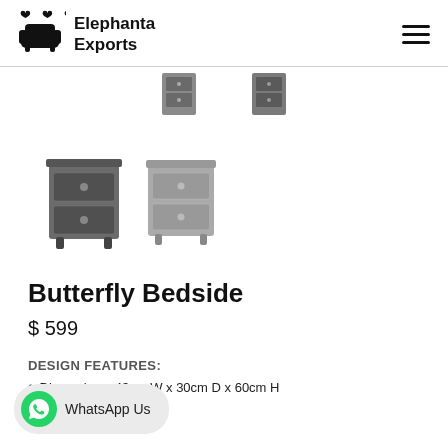Elephanta Exports
[Figure (photo): Two small dark bedside cabinet thumbnail images at top of product gallery]
[Figure (photo): Two bedside cabinet images (dark and light version) shown as product gallery thumbnails]
Butterfly Bedside
$ 599
DESIGN FEATURES:
Dimensions: 43cm W x 30cm D x 60cm H
WhatsApp Us